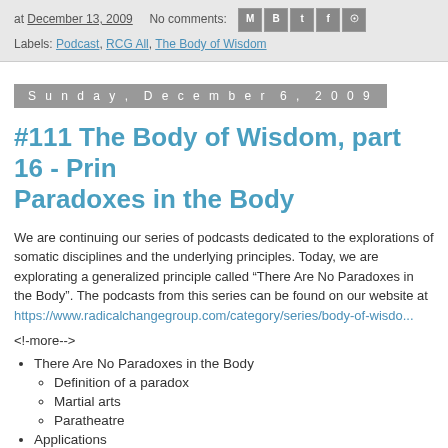at December 13, 2009   No comments:  [social icons]
Labels: Podcast, RCG All, The Body of Wisdom
Sunday, December 6, 2009
#111 The Body of Wisdom, part 16 - Prin... Paradoxes in the Body
We are continuing our series of podcasts dedicated to the exploration of somatic disciplines and the underlying principles. Today, we are exploring a generalized principle called “There Are No Paradoxes in the Body”. The podcasts from this series can be found on our website at https://www.radicalchangegroup.com/category/series/body-of-wisdom...
<!--more-->
There Are No Paradoxes in the Body
Definition of a paradox
Martial arts
Paratheatre
Applications